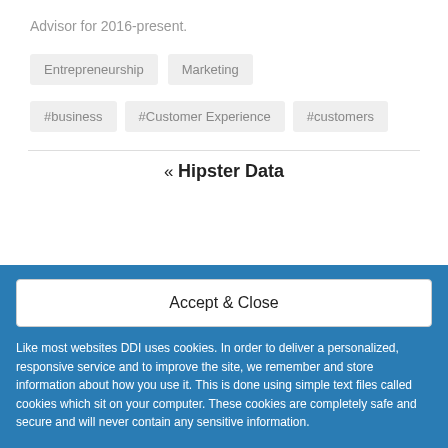Advisor for 2016-present.
Entrepreneurship
Marketing
#business
#Customer Experience
#customers
« Hipster Data
Accept & Close
Like most websites DDI uses cookies. In order to deliver a personalized, responsive service and to improve the site, we remember and store information about how you use it. This is done using simple text files called cookies which sit on your computer. These cookies are completely safe and secure and will never contain any sensitive information.